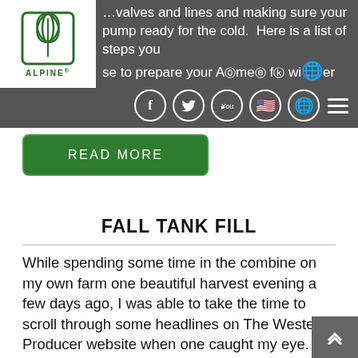[Figure (logo): Alpine logo with stylized leaf/plant icon and ALPINE text]
...valves and lines and making sure your pump ready for the cold.  Here is a list of steps you use to prepare your Alpine for winter.
[Figure (other): Social media navigation icons: Facebook, Twitter, YouTube, US flag, globe, and hamburger menu]
READ MORE
FALL TANK FILL
While spending some time in the combine on my own farm one beautiful harvest evening a few days ago, I was able to take the time to scroll through some headlines on The Western Producer website when one caught my eye. The article, “Finding best time to buy fertilizer” (http://www.producer.com/2015/09/finding-best-time-to-buy-fertilizer/), focused mainly on the fact